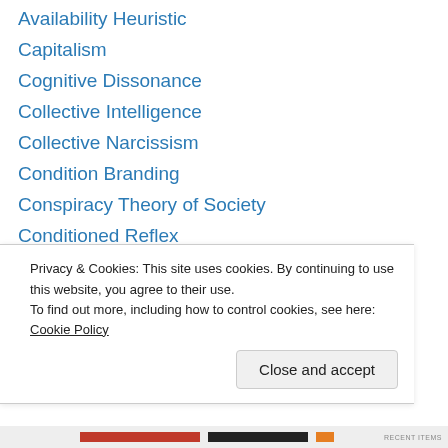Availability Heuristic
Capitalism
Cognitive Dissonance
Collective Intelligence
Collective Narcissism
Condition Branding
Conspiracy Theory of Society
Conditioned Reflex
Confirmation Bias
Crowd Psychology
Cultural Identity
Disease Mongering
Fear Marketing (FUD)
Privacy & Cookies: This site uses cookies. By continuing to use this website, you agree to their use. To find out more, including how to control cookies, see here: Cookie Policy
Close and accept